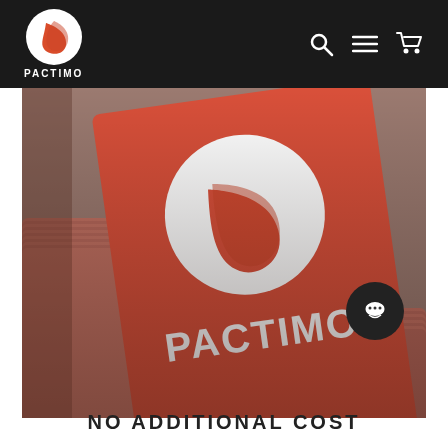PACTIMO
[Figure (photo): Close-up photo of stacked red Pactimo branded cards/labels with the Pactimo logo (white circle with red swoosh) and the word PACTIMO in white text on the front card. A circular chat icon button is overlaid in the bottom-right corner.]
NO ADDITIONAL COST